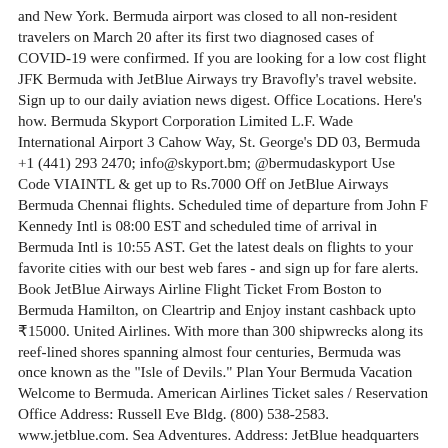and New York. Bermuda airport was closed to all non-resident travelers on March 20 after its first two diagnosed cases of COVID-19 were confirmed. If you are looking for a low cost flight JFK Bermuda with JetBlue Airways try Bravofly's travel website. Sign up to our daily aviation news digest. Office Locations. Here's how. Bermuda Skyport Corporation Limited L.F. Wade International Airport 3 Cahow Way, St. George's DD 03, Bermuda +1 (441) 293 2470; info@skyport.bm; @bermudaskyport Use Code VIAINTL & get up to Rs.7000 Off on JetBlue Airways Bermuda Chennai flights. Scheduled time of departure from John F Kennedy Intl is 08:00 EST and scheduled time of arrival in Bermuda Intl is 10:55 AST. Get the latest deals on flights to your favorite cities with our best web fares - and sign up for fare alerts. Book JetBlue Airways Airline Flight Ticket From Boston to Bermuda Hamilton, on Cleartrip and Enjoy instant cashback upto ₹15000. United Airlines. With more than 300 shipwrecks along its reef-lined shores spanning almost four centuries, Bermuda was once known as the "Isle of Devils." Plan Your Bermuda Vacation Welcome to Bermuda. American Airlines Ticket sales / Reservation Office Address: Russell Eve Bldg. (800) 538-2583. www.jetblue.com. Sea Adventures. Address: JetBlue headquarters is completely transparent when it comes to contact information and location of the JetBlue headquarters. The company said that it lost $4 million, or 2 cents a share, in the three months ended Dec. 31 in contrast to a profit of $17 million, or 10 cents a share, in the year-ago quarter. JetBlue Airways York B61733 check Bermuda New N